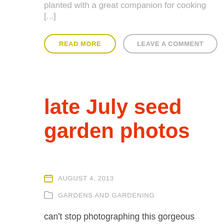planted with a great companion for cooking [...]
READ MORE
LEAVE A COMMENT
late July seed garden photos
AUGUST 4, 2013
GARDENS AND GARDENING
can't stop photographing this gorgeous drunken frizzy headed woman lettuce. Can't wait to add it to my urbantomato 2014 seed collection. First sunflower, I love having flowers